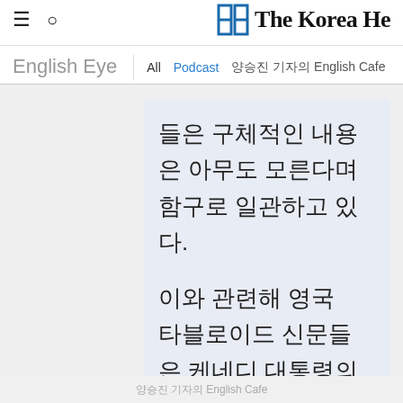The Korea Herald — English Eye | All | Podcast | 양승진 기자의 English Cafe
들은 구체적인 내용은 아무도 모른다며 함구로 일관하고 있다.

이와 관련해 영국 타블로이드 신문들은 케네디 대통령의
양승진 기자의 English Cafe